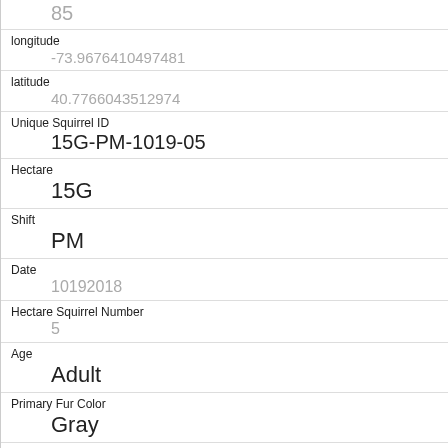|  | 85 |
| longitude | -73.9676410497481 |
| latitude | 40.7766043512974 |
| Unique Squirrel ID | 15G-PM-1019-05 |
| Hectare | 15G |
| Shift | PM |
| Date | 10192018 |
| Hectare Squirrel Number | 5 |
| Age | Adult |
| Primary Fur Color | Gray |
| Highlight Fur Color | Cinnamon |